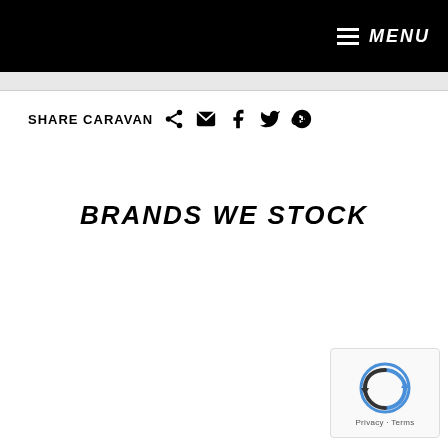MENU
SHARE CARAVAN
BRANDS WE STOCK
[Figure (logo): reCAPTCHA logo with privacy and terms links]